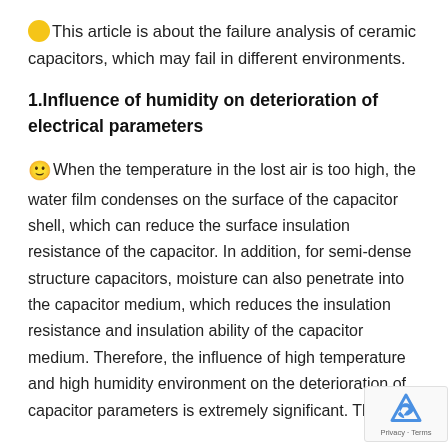🟡This article is about the failure analysis of ceramic capacitors, which may fail in different environments.
1.Influence of humidity on deterioration of electrical parameters
🙂When the temperature in the lost air is too high, the water film condenses on the surface of the capacitor shell, which can reduce the surface insulation resistance of the capacitor. In addition, for semi-dense structure capacitors, moisture can also penetrate into the capacitor medium, which reduces the insulation resistance and insulation ability of the capacitor medium. Therefore, the influence of high temperature and high humidity environment on the deterioration of capacitor parameters is extremely significant. The